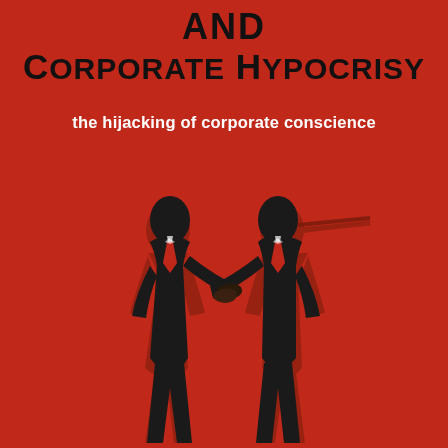AND
CORPORATE HYPOCRISY
the hijacking of corporate conscience
[Figure (illustration): Two businessmen in dark suits shaking hands. Each figure has a shadow behind them — the left figure's shadow appears normal while the right figure's shadow has a Pinocchio-style elongated nose, suggesting deception. The illustration uses black silhouette figures against a red background with brownish shadows.]